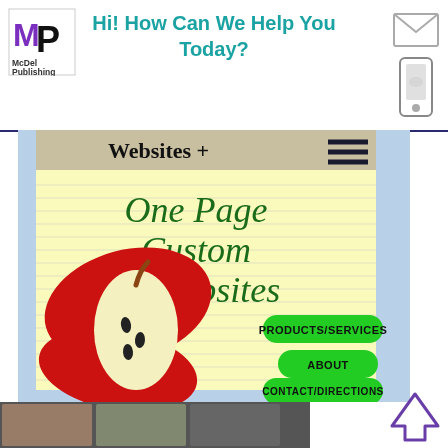[Figure (logo): McDel Publishing logo - MP letters in purple and black square]
Hi! How Can We Help You Today?
[Figure (screenshot): One Page Custom Websites product screenshot showing a notebook-style webpage with apple graphic and green navigation buttons: Products/Services, About, Contact/Directions]
Move mouse over/Tap pic for more info
1-Page Custom Websites